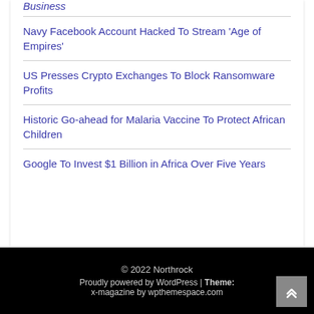Business
Navy Facebook Account Hacked To Stream 'Age of Empires'
US Presses Crypto Exchanges To Block Ransomware Profits
Historic Go-ahead for Malaria Vaccine To Protect African Children
Google To Invest $1 Billion in Africa Over Five Years
© 2022 Northrock Proudly powered by WordPress | Theme: x-magazine by wpthemespace.com